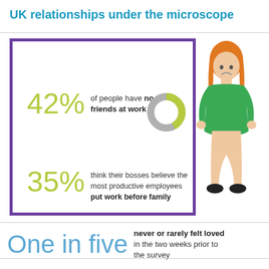UK relationships under the microscope
[Figure (infographic): Purple-bordered box with two statistics: 42% of people have no friends at work (with donut chart showing ~42% highlighted in green), and 35% think their bosses believe the most productive employees put work before family. A cartoon woman figure with orange hair, green top, and black shoes stands to the right.]
One in five never or rarely felt loved in the two weeks prior to the survey